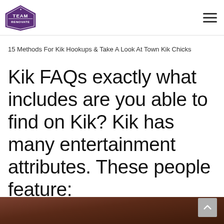TEAM RENOVATE [logo] [hamburger menu]
15 Methods For Kik Hookups & Take A Look At Town Kik Chicks
Kik FAQs exactly what includes are you able to find on Kik? Kik has many entertainment attributes. These people feature:
[Figure (photo): Dark brown wooden surface photo at bottom of page]